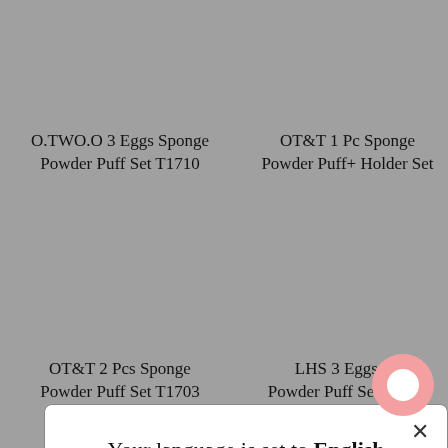O.TWO.O 3 Eggs Sponge Powder Puff Set T1710
OT&T 1 Pc Sponge Powder Puff+ Holder Set
[Figure (screenshot): Modal dialog box with white background and rounded corners. Contains close X button, message 'Your language is set to English', a blue 'Shop in English' button, and an underlined 'Change language' link.]
OT&T 2 Pcs Sponge Powder Puff Set T1703
LHS 3 Eggs Sponge Powder Puff Set T1860
[Figure (illustration): Pink rounded chat bubble icon in bottom right corner]